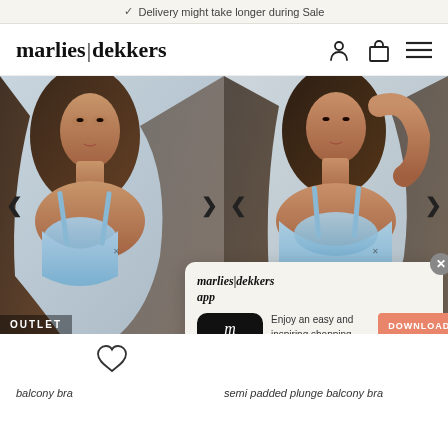✓ Delivery might take longer during Sale
marlies|dekkers
[Figure (photo): Two side-by-side product photos of women modeling blue bras on a light background, with left/right navigation arrows. Left photo shows model with dark wavy hair in a light blue bra. Right photo shows similar model in a light blue textured bra.]
OUTLET
[Figure (infographic): App promotion popup: marlies|dekkers app icon (black square with 'm|d' in italic white serif font), title 'marlies|dekkers app', description 'Enjoy an easy and inspiring shopping experience on your iPhone', star rating 4.5 stars with 3119 reviews, DOWNLOAD button in coral/salmon color, and 'Open directly' underlined link.]
balcony bra
semi padded plunge balcony bra